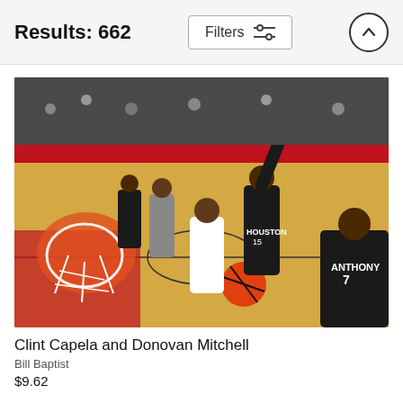Results: 662
[Figure (photo): Basketball game action shot showing players near the basket. A player in white (Donovan Mitchell) drives to the basket while a Houston Rockets player (#15) defends with arm raised. Carmelo Anthony (#7) is visible on the right. The Houston Rockets arena with red court and crowd is visible in the background.]
Clint Capela and Donovan Mitchell
Bill Baptist
$9.62